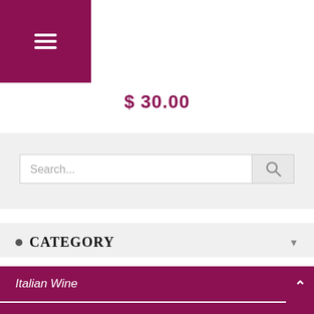Navigation menu with hamburger icon
$ 30.00
[Figure (screenshot): Search bar with text input field showing placeholder 'Search...' and a search button with magnifying glass icon]
CATEGORY
Italian Wine
Italian Food
Italian Craft Beer (partial)